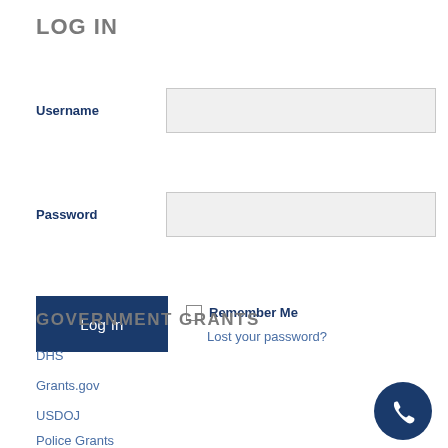LOG IN
Username
Password
Log In
Remember Me
Lost your password?
GOVERNMENT GRANTS
DHS
Grants.gov
USDOJ
Police Grants
[Figure (other): Phone/call button icon circle in dark navy blue]